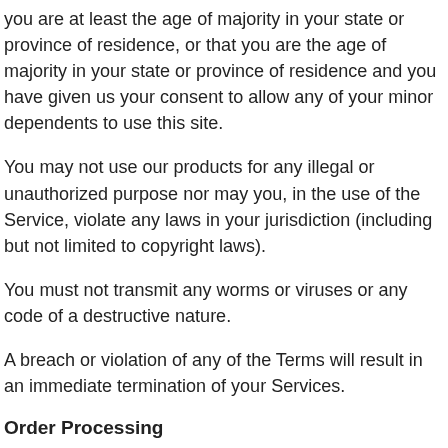you are at least the age of majority in your state or province of residence, or that you are the age of majority in your state or province of residence and you have given us your consent to allow any of your minor dependents to use this site.
You may not use our products for any illegal or unauthorized purpose nor may you, in the use of the Service, violate any laws in your jurisdiction (including but not limited to copyright laws).
You must not transmit any worms or viruses or any code of a destructive nature.
A breach or violation of any of the Terms will result in an immediate termination of your Services.
Order Processing